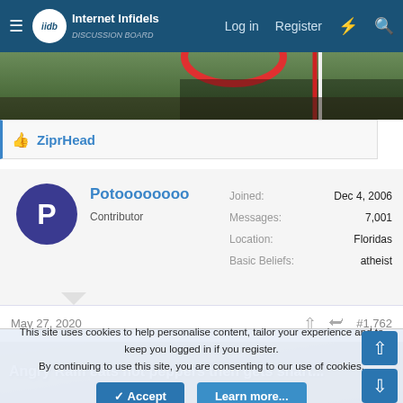Internet Infidels — Log in | Register
[Figure (photo): Banner photo showing grass ground with a red curved element and dark gravel/soil area with striped pole]
👍 ZiprHead
Potoooooooo
Contributor
Joined: Dec 4, 2006
Messages: 7,001
Location: Floridas
Basic Beliefs: atheist
May 27, 2020  #1,762
[Figure (photo): Video thumbnail showing an animal on dirt/gravel with text overlay: Angry Ram eats hot peppers then gets shart...]
This site uses cookies to help personalise content, tailor your experience and to keep you logged in if you register.
By continuing to use this site, you are consenting to our use of cookies.
✓ Accept    Learn more...